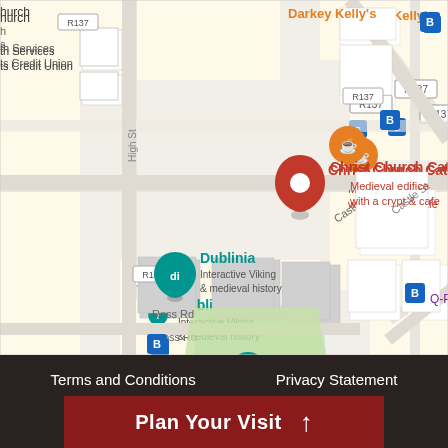[Figure (map): Google Maps screenshot showing Christ Church Cathedral area in Dublin, Ireland. Features map pins for Christ Church Cathedral (red pin, labeled 'Medieval edifice with a crypt & cafe'), Dublinia (teal pin, labeled 'Interactive Viking & medieval history'), Millennium Child (teal pin), Q-Park Christchurch (purple P pin), Digital Agency Dublin, and Chief State Solicitor's Office. Road labels include R137, High St, Castle St, Ross Rd. Bus stop icons are visible.]
Terms and Conditions   Privacy Statement
Plan Your Visit ↑